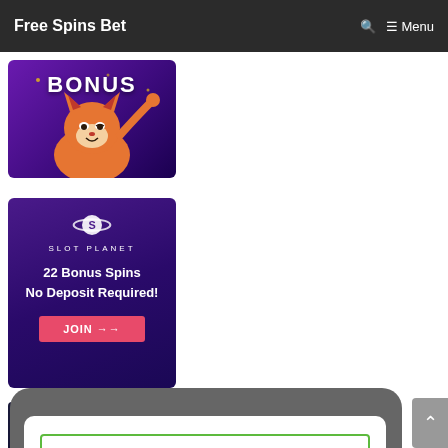Free Spins Bet   🔍  ≡ Menu
[Figure (illustration): Casino bonus promotional banner with animated fox character and 'BONUS' text on purple background]
[Figure (illustration): Slot Planet casino promotional banner: planet logo, 'SLOT PLANET', '22 Bonus Spins No Deposit Required!', pink JOIN button, purple background]
[Figure (screenshot): Partially visible third casino promo banner with '+ 3' visible text, dark background]
[Figure (screenshot): Email subscription modal popup with green-bordered Email field and green 'CLICK FOR FREE BONUS!' button, with X close button]